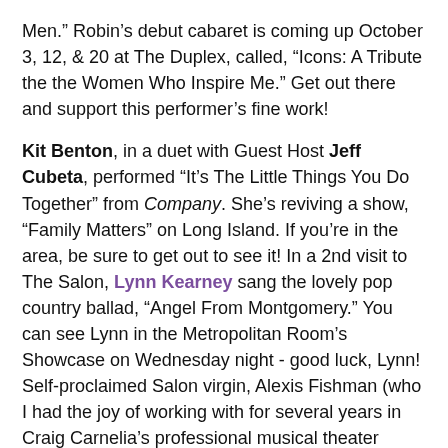Men.” Robin’s debut cabaret is coming up October 3, 12, & 20 at The Duplex, called, “Icons: A Tribute the the Women Who Inspire Me.” Get out there and support this performer’s fine work!
Kit Benton, in a duet with Guest Host Jeff Cubeta, performed “It’s The Little Things You Do Together” from Company. She’s reviving a show, “Family Matters” on Long Island. If you’re in the area, be sure to get out to see it! In a 2nd visit to The Salon, Lynn Kearney sang the lovely pop country ballad, “Angel From Montgomery.” You can see Lynn in the Metropolitan Room’s Showcase on Wednesday night - good luck, Lynn! Self-proclaimed Salon virgin, Alexis Fishman (who I had the joy of working with for several years in Craig Carnelia’s professional musical theater class) sang a heartbreaking, “What Did I Have” by Lerner & Lane. She was the 2012 NYMF “Next Broadway Sensation” Winner and did 2 sold out nights at 54 Below. Please come back, Alexis!
Long time Salon crooner, Marnie Klar, sang the showstopping medley from her recent cabaret “Ain’t Got No / I Got Life” from the musical Hair (with a NIna Simone